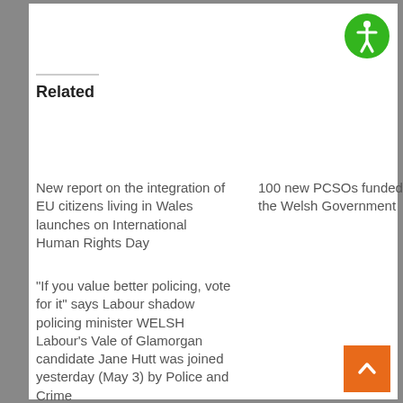[Figure (illustration): Accessibility icon — green circle with white person figure inside]
Related
New report on the integration of EU citizens living in Wales launches on International Human Rights Day
100 new PCSOs funded by the Welsh Government
“If you value better policing, vote for it” says Labour shadow policing minister WELSH Labour's Vale of Glamorgan candidate Jane Hutt was joined yesterday (May 3) by Police and Crime
[Figure (illustration): Orange back-to-top button with white upward chevron arrow]